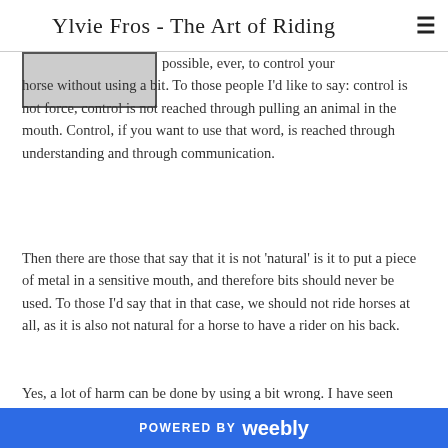Ylvie Fros - The Art of Riding
possible, ever, to control your horse without using a bit. To those people I'd like to say: control is not force, control is not reached through pulling an animal in the mouth. Control, if you want to use that word, is reached through understanding and through communication.
Then there are those that say that it is not 'natural' is it to put a piece of metal in a sensitive mouth, and therefore bits should never be used. To those I'd say that in that case, we should not ride horses at all, as it is also not natural for a horse to have a rider on his back.
Yes, a lot of harm can be done by using a bit wrong. I have seen terrible things done in a horse's mouth; from mouth.
POWERED BY weebly